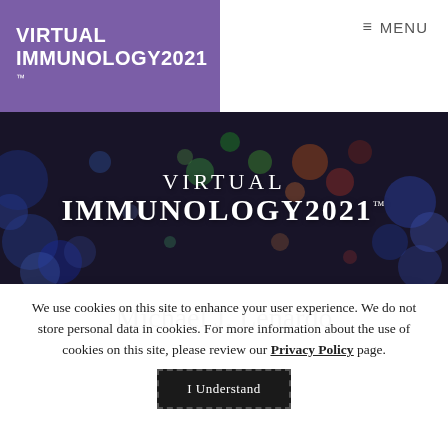VIRTUAL IMMUNOLOGY2021 ™
≡ MENU
[Figure (illustration): Hero banner with dark bokeh/cell microscopy background showing colorful fluorescent dots (blue, green, red, orange) with 'VIRTUAL IMMUNOLOGY2021™' text overlaid in white serif font.]
Michael J. Lenardo
We use cookies on this site to enhance your user experience. We do not store personal data in cookies. For more information about the use of cookies on this site, please review our Privacy Policy page.
I Understand